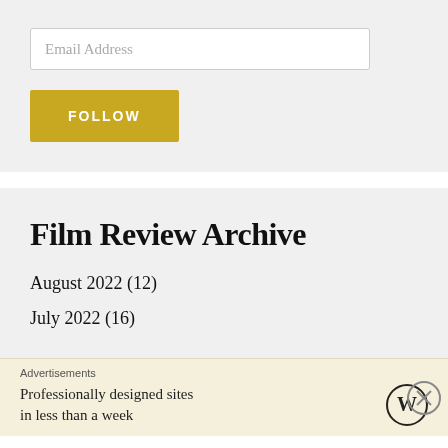Email Address
FOLLOW
Film Review Archive
August 2022 (12)
July 2022 (16)
Advertisements
Professionally designed sites in less than a week